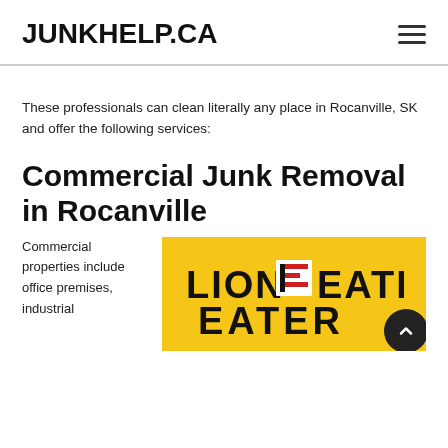JUNKHELP.CA
These professionals can clean literally any place in Rocanville, SK and offer the following services:
Commercial Junk Removal in Rocanville
Commercial properties include office premises, industrial
[Figure (logo): Lion Eater logo on yellow background showing 'LION [icon] EATER' text in bold black letters with a red icon, and 'EATER' text below, partially cropped]